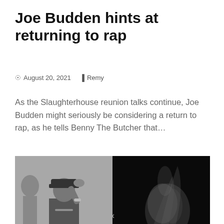Joe Budden hints at returning to rap
© August 20, 2021   Remy
As the Slaughterhouse reunion talks continue, Joe Budden might seriously be considering a return to rap, as he tells Benny The Butcher that…
[Figure (photo): Black and white composite photo: left side shows a man wearing an NY cap with hand raised in a salute gesture; right side shows a dark background with smoke or light effects]